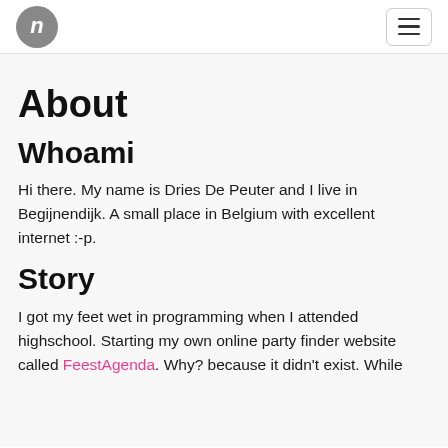[Logo icon] [Hamburger menu button]
About
Whoami
Hi there. My name is Dries De Peuter and I live in Begijnendijk. A small place in Belgium with excellent internet :-p.
Story
I got my feet wet in programming when I attended highschool. Starting my own online party finder website called FeestAgenda. Why? because it didn't exist. While